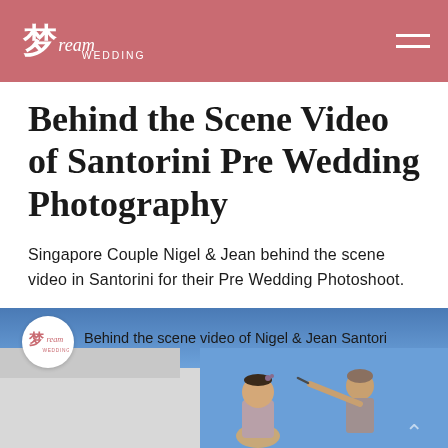Dream Wedding
Behind the Scene Video of Santorini Pre Wedding Photography
Singapore Couple Nigel & Jean behind the scene video in Santorini for their Pre Wedding Photoshoot.
[Figure (screenshot): Video thumbnail showing 'Behind the scene video of Nigel & Jean Santori...' with Dream Wedding logo avatar circle and a photo of a bride being made up outdoors in Santorini]